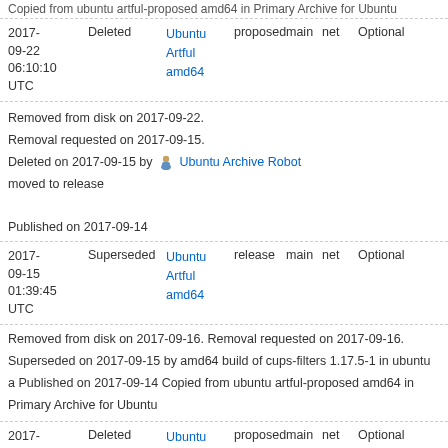Copied from ubuntu artful-proposed amd64 in Primary Archive for Ubuntu
| Date | Status | Distro | Pocket | Component | Section | Priority |
| --- | --- | --- | --- | --- | --- | --- |
| 2017-09-22 06:10:10 UTC | Deleted | Ubuntu Artful amd64 | proposed | main | net | Optional |
Removed from disk on 2017-09-22.
Removal requested on 2017-09-15.
Deleted on 2017-09-15 by Ubuntu Archive Robot
moved to release

Published on 2017-09-14
| Date | Status | Distro | Pocket | Component | Section | Priority |
| --- | --- | --- | --- | --- | --- | --- |
| 2017-09-15 01:39:45 UTC | Superseded | Ubuntu Artful amd64 | release | main | net | Optional |
Removed from disk on 2017-09-16.
Removal requested on 2017-09-16.
Superseded on 2017-09-15 by amd64 build of cups-filters 1.17.5-1 in ubuntu a
Published on 2017-09-14
Copied from ubuntu artful-proposed amd64 in Primary Archive for Ubuntu
| Date | Status | Distro | Pocket | Component | Section | Priority |
| --- | --- | --- | --- | --- | --- | --- |
| 2017-09-16 | Deleted | Ubuntu Artful | proposed | main | net | Optional |